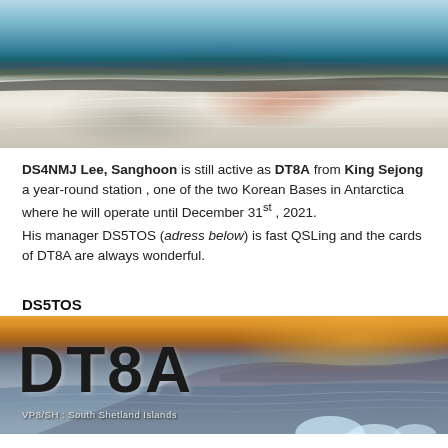[Figure (photo): Aerial view of King Sejong Antarctic station on a snowy coastline with dark water]
DS4NMJ Lee, Sanghoon is still active as DT8A from King Sejong a year-round station , one of the two Korean Bases in Antarctica where he will operate until December 31st , 2021.
His manager DS5TOS (adress below) is fast QSLing and the cards of DT8A are always wonderful.
DS5TOS
[Figure (photo): QSL card for DT8A showing icebergs and ocean with text DT8A and VP8/SH : South Shetland Islands at the bottom]